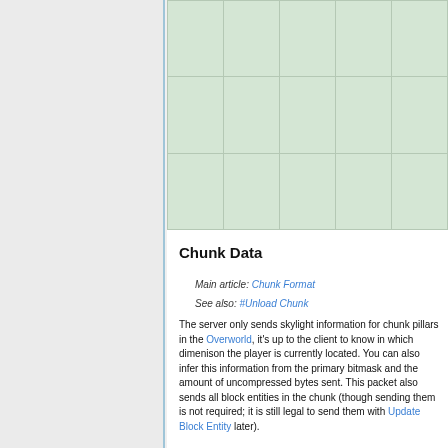|  |  |  |  |  |
|  |  |  |  |  |
Chunk Data
Main article: Chunk Format
See also: #Unload Chunk
The server only sends skylight information for chunk pillars in the Overworld, it's up to the client to know in which dimenison the player is currently located. You can also infer this information from the primary bitmask and the amount of uncompressed bytes sent. This packet also sends all block entities in the chunk (though sending them is not required; it is still legal to send them with Update Block Entity later).